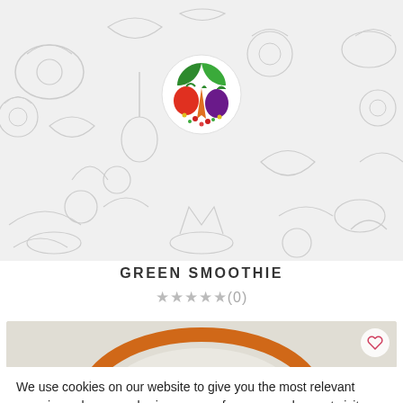[Figure (illustration): Vegetable and food pattern background (light gray line art) with a circular colorful vegetable logo in the center]
GREEN SMOOTHIE
★★★★★(0)
[Figure (photo): Partial photo of an orange-rimmed bowl on a light background, with a heart/favorite icon button in top right corner]
We use cookies on our website to give you the most relevant experience by remembering your preferences and repeat visits. By clicking "Accept All", you consent to the use of ALL the cookies. However, you may visit "Cookie Settings" to provide a controlled consent.
Cookie Settings   Accept All